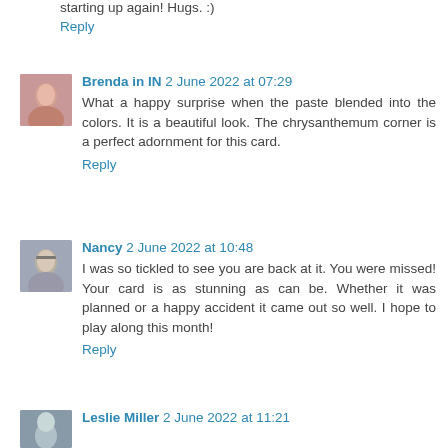starting up again! Hugs. :)
Reply
Brenda in IN 2 June 2022 at 07:29
[Figure (photo): Avatar photo of Brenda in IN]
What a happy surprise when the paste blended into the colors. It is a beautiful look. The chrysanthemum corner is a perfect adornment for this card.
Reply
Nancy 2 June 2022 at 10:48
[Figure (photo): Avatar photo of Nancy]
I was so tickled to see you are back at it. You were missed! Your card is as stunning as can be. Whether it was planned or a happy accident it came out so well. I hope to play along this month!
Reply
Leslie Miller 2 June 2022 at 11:21
[Figure (photo): Avatar photo of Leslie Miller]